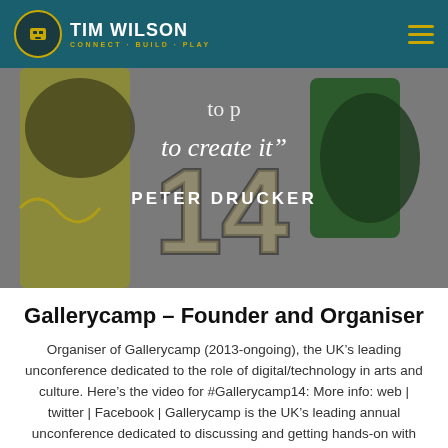TIM WILSON CONNECT · BUILD · PLAY
[Figure (illustration): Artistic image with colorful graffiti-style artwork showing number 14 and text overlay reading 'to create it" PETER DRUCKER']
Gallerycamp – Founder and Organiser
Organiser of Gallerycamp (2013-ongoing), the UK's leading unconference dedicated to the role of digital/technology in arts and culture. Here's the video for #Gallerycamp14: More info: web | twitter | Facebook | Gallerycamp is the UK's leading annual unconference dedicated to discussing and getting hands-on with the future role of digital and